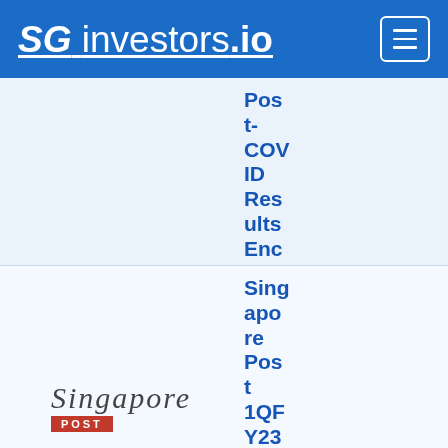SG investors.io
Post-COVID Results Encouraging
[Figure (logo): Singapore Post logo with script text and red POST badge]
Singapore Post 1QFY23 Results Preview -